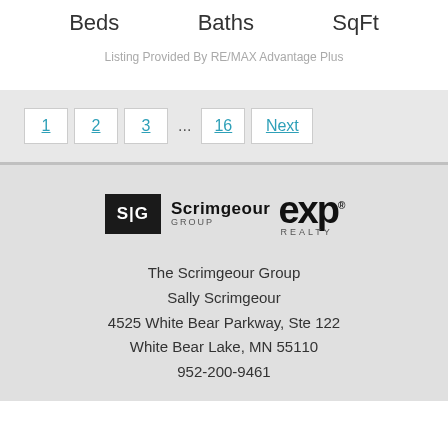Beds   Baths   SqFt
Listing Provided By RE/MAX Advantage Plus
1  2  3  ...  16  Next
[Figure (logo): Scrimgeour Group eXp Realty logo]
The Scrimgeour Group
Sally Scrimgeour
4525 White Bear Parkway, Ste 122
White Bear Lake, MN 55110
952-200-9461